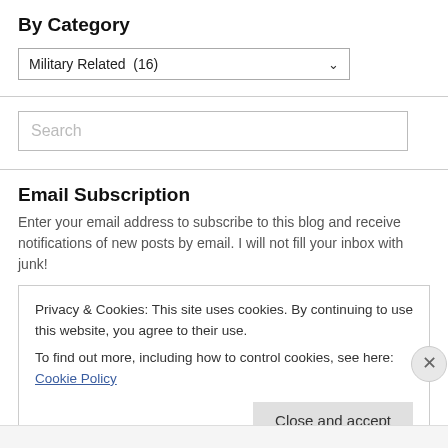By Category
Military Related  (16)
[Figure (screenshot): Search input field with placeholder text 'Search']
Email Subscription
Enter your email address to subscribe to this blog and receive notifications of new posts by email. I will not fill your inbox with junk!
Privacy & Cookies: This site uses cookies. By continuing to use this website, you agree to their use.
To find out more, including how to control cookies, see here: Cookie Policy
Close and accept